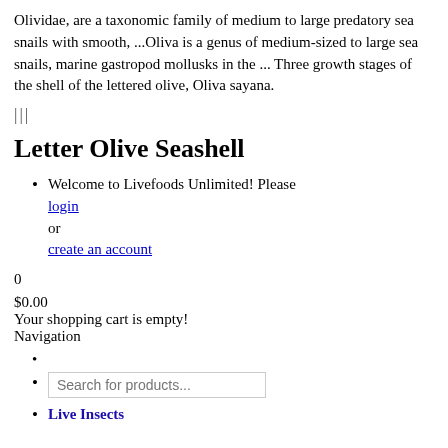Olividae, are a taxonomic family of medium to large predatory sea snails with smooth, ...Oliva is a genus of medium-sized to large sea snails, marine gastropod mollusks in the ... Three growth stages of the shell of the lettered olive, Oliva sayana.
|||
Letter Olive Seashell
Welcome to Livefoods Unlimited! Please login or create an account
0
$0.00
Your shopping cart is empty!
Navigation
Search for products...
Live Insects